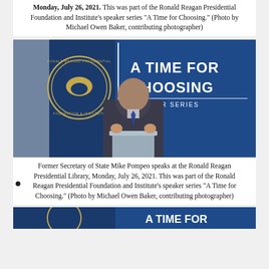Monday, July 26, 2021. This was part of the Ronald Reagan Presidential Foundation and Institute's speaker series "A Time for Choosing." (Photo by Michael Owen Baker, contributing photographer)
[Figure (photo): Former Secretary of State Mike Pompeo speaking at a podium at the Ronald Reagan Presidential Library. Behind him is a blue backdrop with the Ronald Reagan Presidential Foundation and Institute seal and text reading 'A TIME FOR CHOOSING SPEAKER SERIES'.]
Former Secretary of State Mike Pompeo speaks at the Ronald Reagan Presidential Library, Monday, July 26, 2021. This was part of the Ronald Reagan Presidential Foundation and Institute's speaker series "A Time for Choosing." (Photo by Michael Owen Baker, contributing photographer)
[Figure (photo): Partial view of another photo showing the Ronald Reagan Presidential Foundation seal and event backdrop, cropped at bottom of page.]